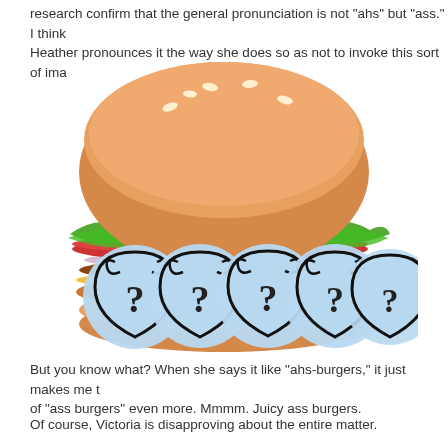research confirm that the general pronunciation is not "ahs" but "ass." I think Heather pronounces it the way she does so as not to invoke this sort of ima
[Figure (photo): A large burger with a sesame seed bun, lettuce, tomato, onion, cheese, and patty. The middle section where the patty would be is replaced by five overlapping light blue circular shield icons with decorative question marks on them.]
But you know what? When she says it like "ahs-burgers," it just makes me think of "ass burgers" even more. Mmmm. Juicy ass burgers.
Of course, Victoria is disapproving about the entire matter.